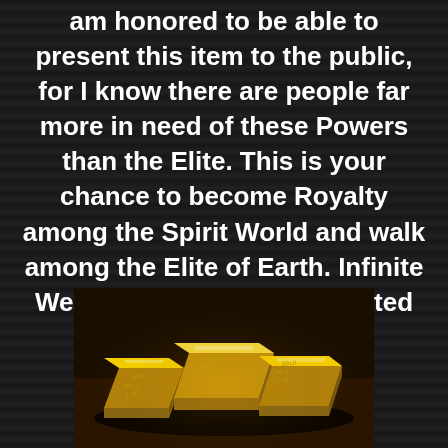am honored to be able to present this item to the public, for I know there are people far more in need of these Powers than the Elite. This is your chance to become Royalty among the Spirit World and walk among the Elite of Earth. Infinite Wealth, Powers, and Unlimited Blessings are upon you.
[Figure (photo): Photograph of stacked gold bars/bullion on a dark background with warm golden lighting]